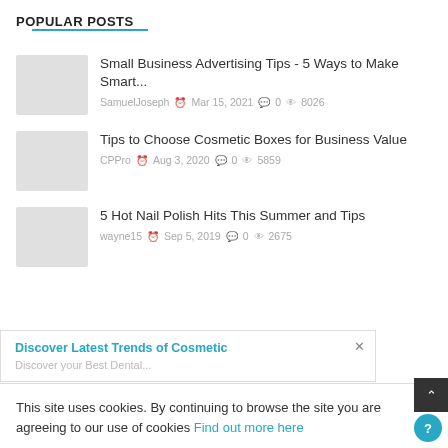POPULAR POSTS
Small Business Advertising Tips - 5 Ways to Make Smart...
SamuelJoseph  Mar 15, 2021  0  8026
Tips to Choose Cosmetic Boxes for Business Value
CPPro  Aug 3, 2020  0  5859
5 Hot Nail Polish Hits This Summer and Tips
wayne15  Sep 5, 2019  0  2675
Discover Latest Trends of Cosmetic
Discover your Best Dental...
This site uses cookies. By continuing to browse the site you are agreeing to our use of cookies Find out more here